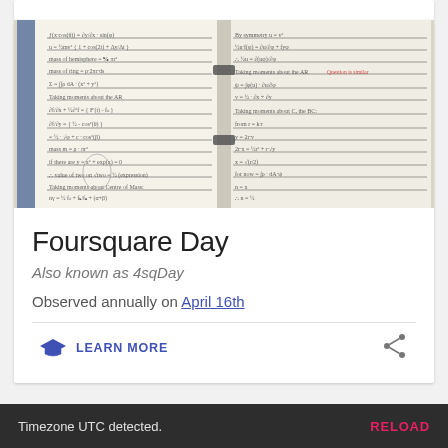[Figure (photo): Photo of an open notebook with handwritten mathematical equations and notes, showing two pages side by side with a ring binder in the middle.]
Foursquare Day
Also known as 4sqDay
Observed annually on April 16th
LEARN MORE
Timezone UTC detected. RELOAD